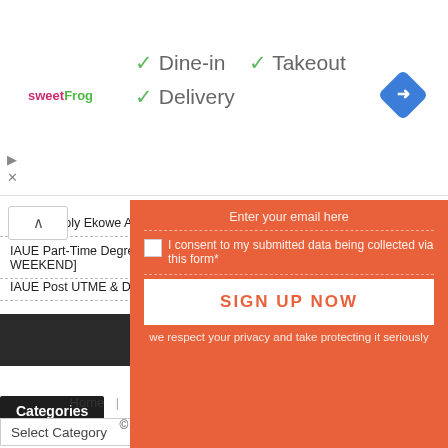[Figure (screenshot): Ad banner with sweetFrog logo, dine-in/takeout/delivery checkmarks, navigation icon, play and close buttons]
✓ Dine-in  ✓ Takeout
✓ Delivery
Federal Poly Ekowe Admission Forms [ND & HND] 2022/2023
IAUE Part-Time Degree Admission Form 2022/2023 [REGULAR & WEEKEND]
IAUE Post UTME & DE Screening Form 2022/2023
Enter your email here
I consent to my submitted data being collected via this form*
SIGN UP NOW
we respect your privacy and take protecting it seriously
Categories
Select Category
Home   Disclaimer   About Us   Privacy Policy
© EduInformant.com All rights reserved